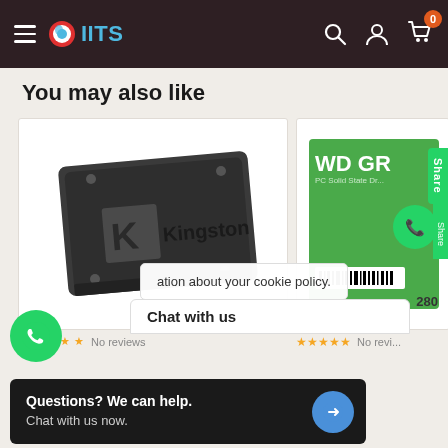IITS — navigation bar with hamburger menu, logo, search, account, and cart (0 items)
You may also like
[Figure (photo): Kingston SSD product photo on white background — a dark grey Kingston 2.5-inch SATA SSD drive]
[Figure (photo): WD Green PC Solid State Drive product box — green packaging partially visible]
No reviews
No reviews
ation about your cookie policy.
280
Chat with us
Questions? We can help.
Chat with us now.